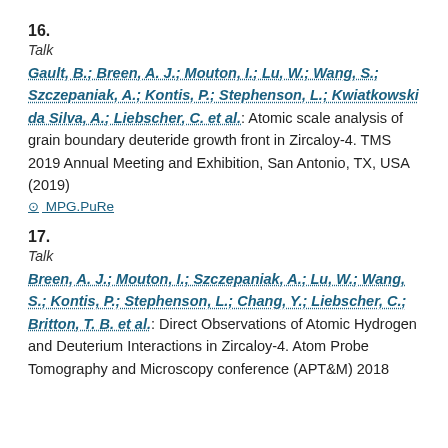16.
Talk
Gault, B.; Breen, A. J.; Mouton, I.; Lu, W.; Wang, S.; Szczepaniak, A.; Kontis, P.; Stephenson, L.; Kwiatkowski da Silva, A.; Liebscher, C. et al.: Atomic scale analysis of grain boundary deuteride growth front in Zircaloy-4. TMS 2019 Annual Meeting and Exhibition, San Antonio, TX, USA (2019)
MPG.PuRe
17.
Talk
Breen, A. J.; Mouton, I.; Szczepaniak, A.; Lu, W.; Wang, S.; Kontis, P.; Stephenson, L.; Chang, Y.; Liebscher, C.; Britton, T. B. et al.: Direct Observations of Atomic Hydrogen and Deuterium Interactions in Zircaloy-4. Atom Probe Tomography and Microscopy conference (APT&M) 2018